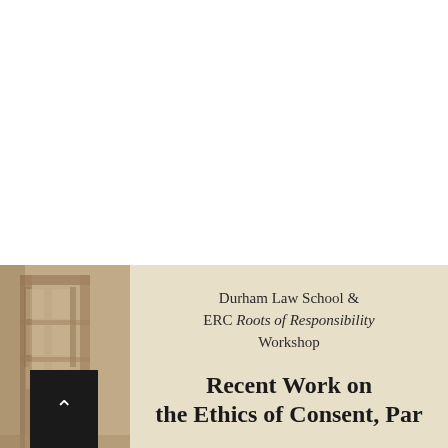[Figure (photo): Cover image for a legal workshop event. Top half is white. Bottom half shows a sepia-toned photo of a law library or law school building interior on the left, with a beige/tan background panel on the right containing text. Text reads: 'Durham Law School & ERC Roots of Responsibility Workshop' followed by bold title 'Recent Work on the Ethics of Consent, Par[t...]'.]
Durham Law School & ERC Roots of Responsibility Workshop
Recent Work on the Ethics of Consent, Par